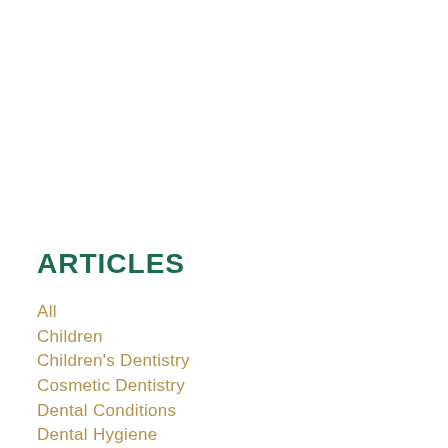ARTICLES
All
Children
Children's Dentistry
Cosmetic Dentistry
Dental Conditions
Dental Hygiene
Dental Implants
Dentures